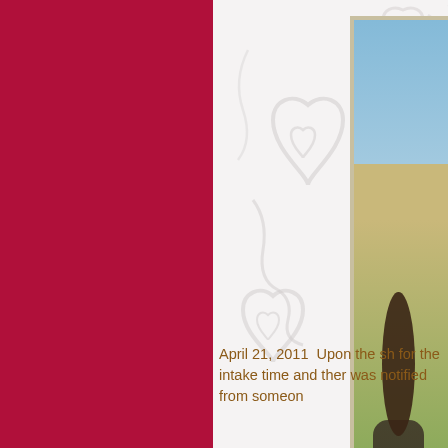[Figure (photo): Left half of page is a solid crimson/dark pink panel. Right half has a white/light gray background with decorative heart and swirl watermark pattern. On the right side, a tall vertical photo strip showing a person outdoors with blue sky and sandy/arid landscape. Bottom of right panel contains partial text in brown/tan color.]
April 21, 2011  Upon the sh for the intake time and ther was notified from someon